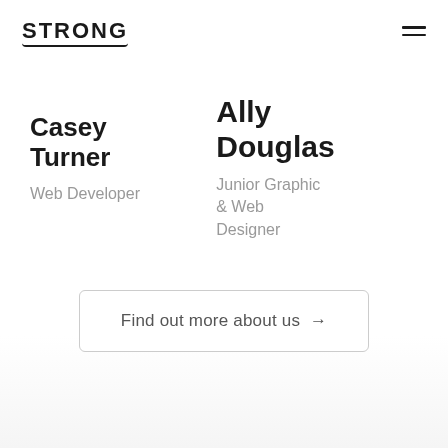STRONG
Casey Turner
Web Developer
Ally Douglas
Junior Graphic & Web Designer
Find out more about us →